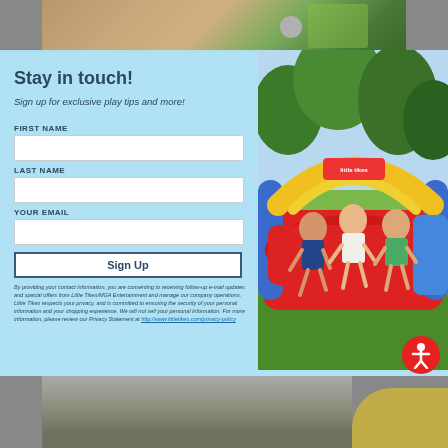[Figure (photo): Top background photo showing what appears to be outdoor play equipment or furniture in warm tones with green foliage]
[Figure (photo): Modal popup with light blue background containing a newsletter sign-up form on the left and a photo of three girls playing on a Little Tikes inflatable bounce house/slide on the right]
Stay in touch!
Sign up for exclusive play tips and more!
FIRST NAME
LAST NAME
YOUR EMAIL
Sign Up
By providing your contact information, you are consenting to receiving follow-up e-mail updates and special offers from Little Tikes/MGA Entertainment and manage our company operations. Little Tikes respects your privacy, and is committed to ensuring the security of your personal information and your shopping experience. We will not sell your personal information. For more information, please review our Privacy Statement at http://www.littletikes.com/privacy-policy
[Figure (photo): Bottom background photo showing outdoor scene with equipment]